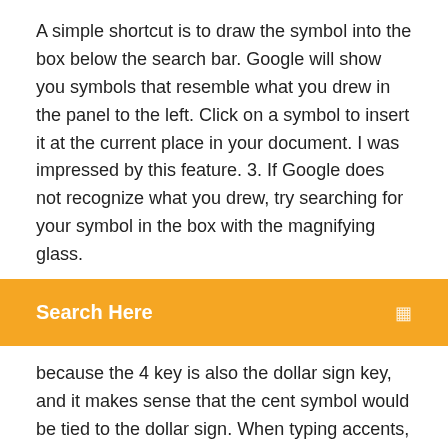A simple shortcut is to draw the symbol into the box below the search bar. Google will show you symbols that resemble what you drew in the panel to the left. Click on a symbol to insert it at the current place in your document. I was impressed by this feature. 3. If Google does not recognize what you drew, try searching for your symbol in the box with the magnifying glass.
[Figure (screenshot): Orange/yellow search bar UI element with 'Search Here' label in white bold text and a small icon on the right]
because the 4 key is also the dollar sign key, and it makes sense that the cent symbol would be tied to the dollar sign. When typing accents, you usually think about what letter it usually goes on, type Option-, and then the letter you want to put it on (for example, Option-e e creates the symbol é). The ≤ symbol is on the same key as the How to Insert Symbols in Emails: 11 Steps (with … 25/08/2018 · How to Insert Symbols in Emails. When typing emails, there are certain symbols that are best represented by using their assigned character, instead of